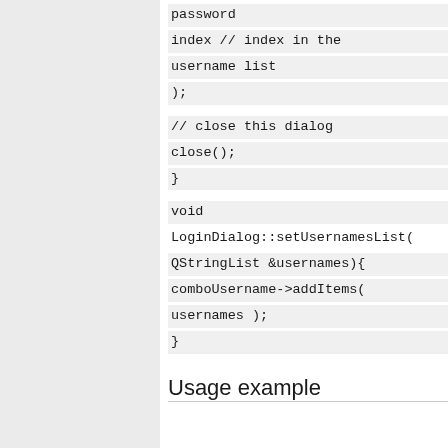password
index // index in the
username list
);

// close this dialog
close();
}

void
LoginDialog::setUsernamesList(
QStringList &usernames){
comboUsername->addItems(
usernames );
}
Usage example